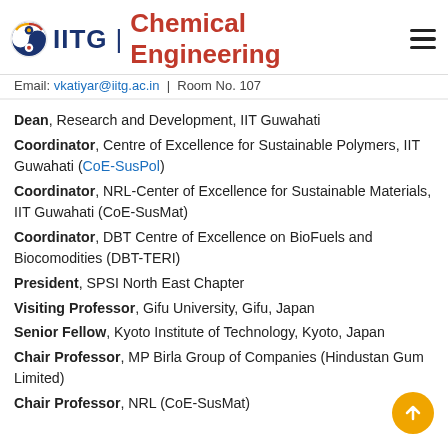IITG | Chemical Engineering
Email: vkatiyar@iitg.ac.in | Room No. 107
Dean, Research and Development, IIT Guwahati
Coordinator, Centre of Excellence for Sustainable Polymers, IIT Guwahati (CoE-SusPol)
Coordinator, NRL-Center of Excellence for Sustainable Materials, IIT Guwahati (CoE-SusMat)
Coordinator, DBT Centre of Excellence on BioFuels and Biocomodities (DBT-TERI)
President, SPSI North East Chapter
Visiting Professor, Gifu University, Gifu, Japan
Senior Fellow, Kyoto Institute of Technology, Kyoto, Japan
Chair Professor, MP Birla Group of Companies (Hindustan Gum Limited)
Chair Professor, NRL (CoE-SusMat)